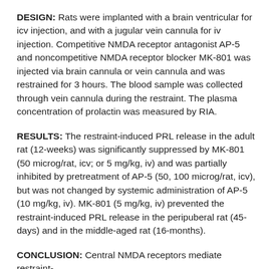DESIGN: Rats were implanted with a brain ventricular for icv injection, and with a jugular vein cannula for iv injection. Competitive NMDA receptor antagonist AP-5 and noncompetitive NMDA receptor blocker MK-801 was injected via brain cannula or vein cannula and was restrained for 3 hours. The blood sample was collected through vein cannula during the restraint. The plasma concentration of prolactin was measured by RIA.
RESULTS: The restraint-induced PRL release in the adult rat (12-weeks) was significantly suppressed by MK-801 (50 microg/rat, icv; or 5 mg/kg, iv) and was partially inhibited by pretreatment of AP-5 (50, 100 microg/rat, icv), but was not changed by systemic administration of AP-5 (10 mg/kg, iv). MK-801 (5 mg/kg, iv) prevented the restraint-induced PRL release in the peripuberal rat (45-days) and in the middle-aged rat (16-months).
CONCLUSION: Central NMDA receptors mediate restraint-